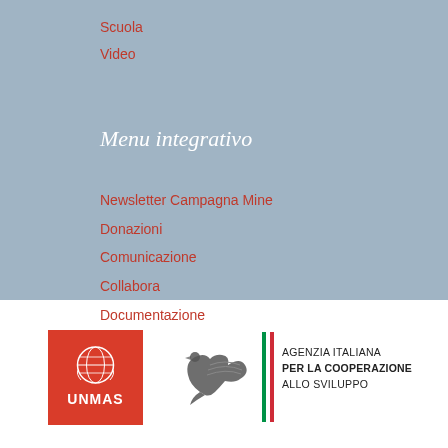Scuola
Video
Menu integrativo
Newsletter Campagna Mine
Donazioni
Comunicazione
Collabora
Documentazione
[Figure (logo): UNMAS logo - red square with UN emblem and UNMAS text]
[Figure (logo): Agenzia Italiana per la Cooperazione allo Sviluppo logo with dove and Italian flag stripe]